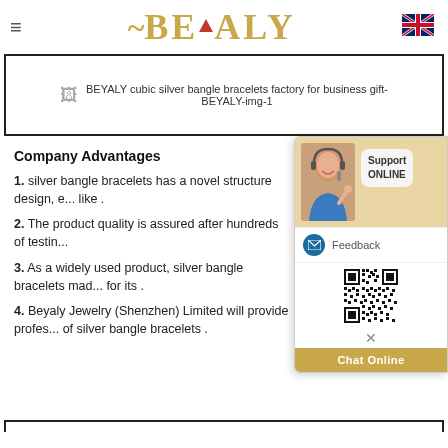[Figure (logo): BEYALY logo with golden text, tilde accent, and red triangle]
[Figure (photo): BEYALY cubic silver bangle bracelets factory for business gift - BEYALY-img-1 (broken image placeholder)]
Company Advantages
1. silver bangle bracelets has a novel structure design, e... like .
2. The product quality is assured after hundreds of testin...
3. As a widely used product, silver bangle bracelets mad... for its .
4. Beyaly Jewelry (Shenzhen) Limited will provide profes... of silver bangle bracelets .